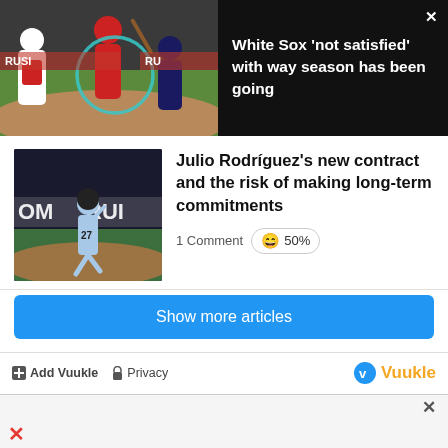[Figure (screenshot): Dark banner with baseball game image on left and headline text on right with close X button]
White Sox 'not satisfied' with way season has been going
[Figure (photo): Baseball player running on field, 'HOME RUN' text visible in background]
Julio Rodríguez's new contract and the risk of making long-term commitments
1 Comment 😄 50%
Show more articles
Add Vuukle  Privacy  Vuukle